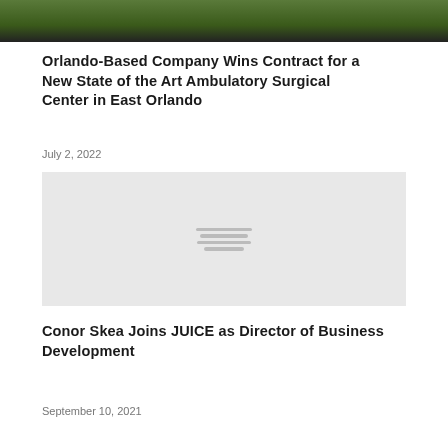[Figure (photo): Top portion of a photo showing a green field/lawn area with dark background, partially cropped at top of page]
Orlando-Based Company Wins Contract for a New State of the Art Ambulatory Surgical Center in East Orlando
July 2, 2022
[Figure (photo): Gray placeholder image with hamburger/loading lines icon in the center]
Conor Skea Joins JUICE as Director of Business Development
September 10, 2021